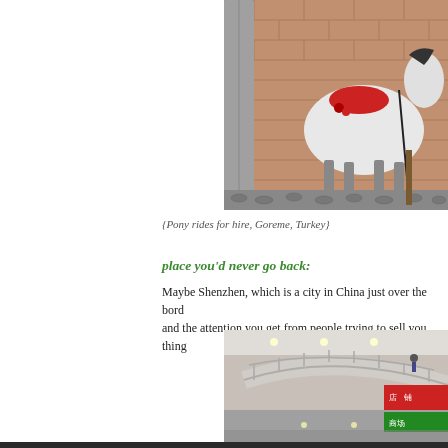[Figure (photo): A white pony/horse with a red saddle standing against a brick wall on a cobblestone street in Goreme, Turkey.]
{Pony rides for hire, Goreme, Turkey}
place you'd never go back:
Maybe Shenzhen, which is a city in China just over the bord… and the attention you get from people trying to sell you thing…
[Figure (photo): Interior of a shopping mall in Shenzhen, China, showing a curved escalator/staircase with railings and shop signs in the background.]